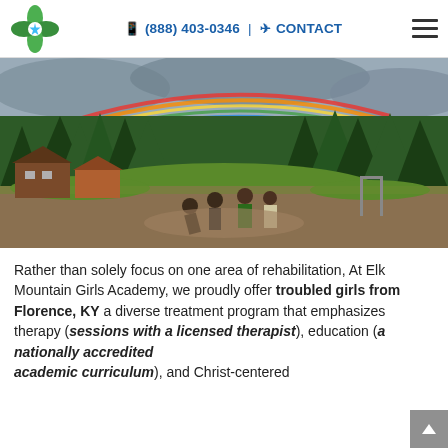(888) 403-0346 | CONTACT
[Figure (photo): Outdoor scene at Elk Mountain Girls Academy showing several teenagers standing on a dirt path in front of log cabin buildings, evergreen forest, and a rainbow in a cloudy sky.]
Rather than solely focus on one area of rehabilitation, At Elk Mountain Girls Academy, we proudly offer troubled girls from Florence, KY a diverse treatment program that emphasizes therapy (sessions with a licensed therapist), education (a nationally accredited academic curriculum), and Christ-centered